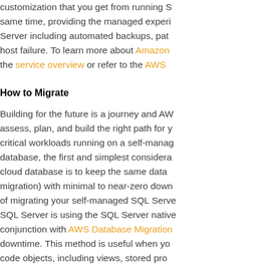customization that you get from running S same time, providing the managed experi Server including automated backups, pat host failure. To learn more about Amazon the service overview or refer to the AWS
How to Migrate
Building for the future is a journey and AW assess, plan, and build the right path for y critical workloads running on a self-manag database, the first and simplest considera cloud database is to keep the same data migration) with minimal to near-zero down of migrating your self-managed SQL Serve SQL Server is using the SQL Server native conjunction with AWS Database Migration downtime. This method is useful when yo code objects, including views, stored pro